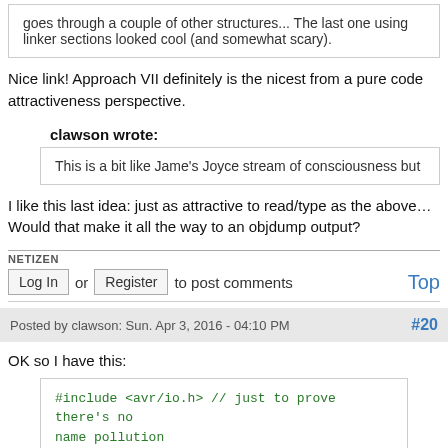goes through a couple of other structures... The last one using linker sections looked cool (and somewhat scary).
Nice link! Approach VII definitely is the nicest from a pure code attractiveness perspective.
clawson wrote:
This is a bit like Jame's Joyce stream of consciousness but
I like this last idea: just as attractive to read/type as the above…
Would that make it all the way to an objdump output?
NETIZEN
Log In or Register to post comments  Top
Posted by clawson: Sun. Apr 3, 2016 - 04:10 PM  #20
OK so I have this:
#include <avr/io.h> // just to prove there's no name pollution